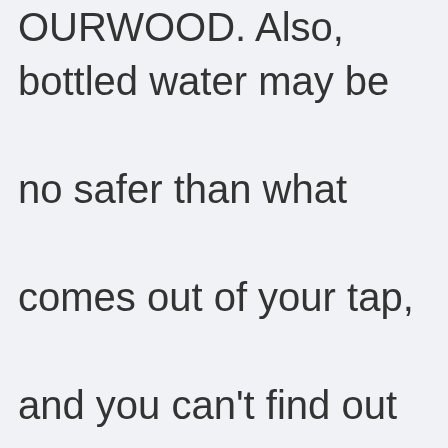OURWOOD. Also, bottled water may be no safer than what comes out of your tap, and you can't find out by checking the label. Industry doesn't want you to know.